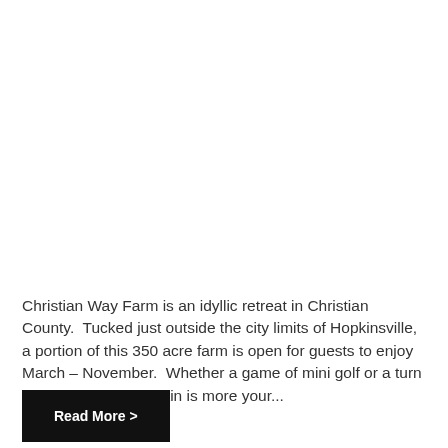Christian Way Farm is an idyllic retreat in Christian County.  Tucked just outside the city limits of Hopkinsville, a portion of this 350 acre farm is open for guests to enjoy March – November.  Whether a game of mini golf or a turn on the lawnmower train is more your...
Read More >